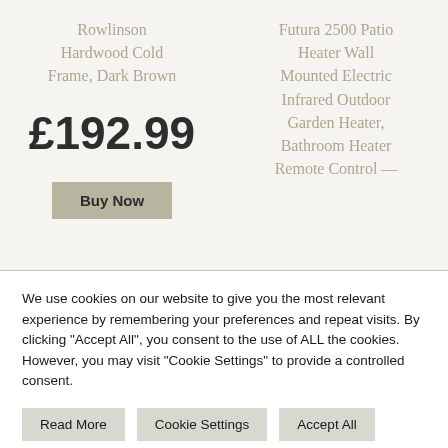Rowlinson Hardwood Cold Frame, Dark Brown
£192.99
Buy Now
Futura 2500 Patio Heater Wall Mounted Electric Infrared Outdoor Garden Heater, Bathroom Heater Remote Control —
We use cookies on our website to give you the most relevant experience by remembering your preferences and repeat visits. By clicking "Accept All", you consent to the use of ALL the cookies. However, you may visit "Cookie Settings" to provide a controlled consent.
Read More
Cookie Settings
Accept All